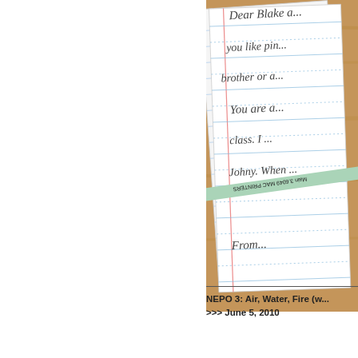[Figure (photo): A photograph showing lined notebook paper with handwritten cursive text (a letter beginning with 'Dear Blake... you are... you like pi... brother or... You are a... class. I... Johny. When... From...') and a light green pencil labeled 'MAC PRINTERS' with a pink eraser resting on top of the paper, all on a wooden surface.]
NEPO 3: Air, Water, Fire (w... >>> June 5, 2010